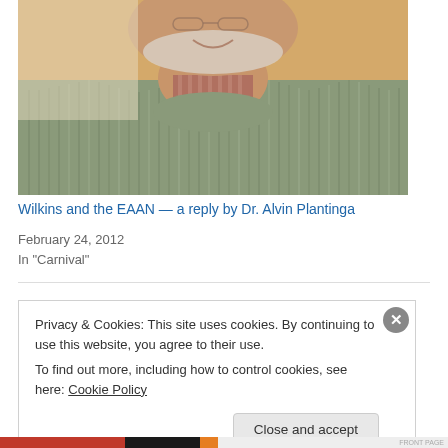[Figure (photo): Close-up photo of an older man with a white/grey beard, wearing a green/grey cable-knit sweater over a striped collared shirt, smiling, with orange/warm background]
Wilkins and the EAAN — a reply by Dr. Alvin Plantinga
February 24, 2012
In "Carnival"
Privacy & Cookies: This site uses cookies. By continuing to use this website, you agree to their use.
To find out more, including how to control cookies, see here: Cookie Policy
Close and accept